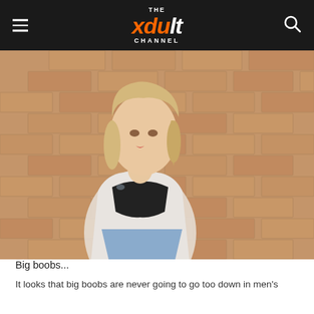THE xdult CHANNEL
[Figure (photo): Young Asian woman with blonde hair, wearing a black strapless top and open white shirt, posing in front of a brick wall background]
Big boobs...
It looks that big boobs are never going to go too down in men's